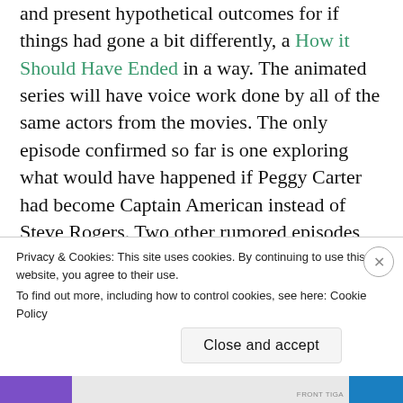and present hypothetical outcomes for if things had gone a bit differently, a How it Should Have Ended in a way. The animated series will have voice work done by all of the same actors from the movies. The only episode confirmed so far is one exploring what would have happened if Peggy Carter had become Captain American instead of Steve Rogers. Two other rumored episodes will cover what would have happened if Loki had gotten Mjolnir instead of Thor, and what if Killmonger had killed T'Challa and become the permanent king. The series will be narrated by
Privacy & Cookies: This site uses cookies. By continuing to use this website, you agree to their use.
To find out more, including how to control cookies, see here: Cookie Policy
Close and accept